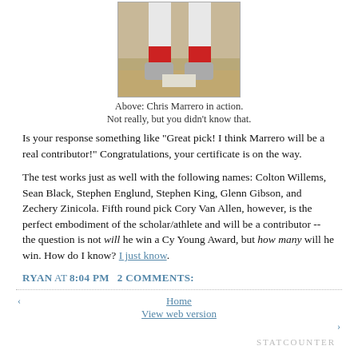[Figure (photo): Photo of a baseball player's legs/cleats at home plate, wearing red socks and white pants]
Above: Chris Marrero in action.
Not really, but you didn't know that.
Is your response something like "Great pick! I think Marrero will be a real contributor!" Congratulations, your certificate is on the way.
The test works just as well with the following names: Colton Willems, Sean Black, Stephen Englund, Stephen King, Glenn Gibson, and Zechery Zinicola. Fifth round pick Cory Van Allen, however, is the perfect embodiment of the scholar/athlete and will be a contributor -- the question is not will he win a Cy Young Award, but how many will he win. How do I know? I just know.
RYAN AT 8:04 PM   2 COMMENTS:
Home
View web version
STATCOUNTER